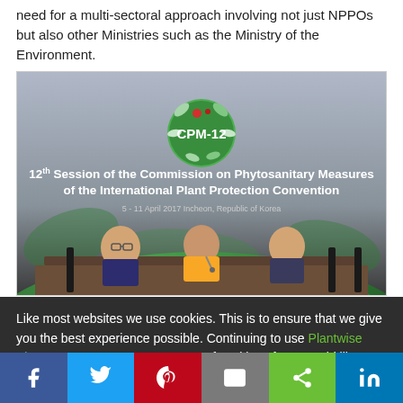need for a multi-sectoral approach involving not just NPPOs but also other Ministries such as the Ministry of the Environment.
[Figure (photo): Photo from the 12th Session of the Commission on Phytosanitary Measures of the International Plant Protection Convention, 5-11 April 2017, Incheon, Republic of Korea. Shows three panelists seated at a conference table with the CPM-12 banner and logo behind them.]
Like most websites we use cookies. This is to ensure that we give you the best experience possible. Continuing to use Plantwise Blog means you agree to our use of cookies. If you would like to, you can learn more about the cookies we use here.